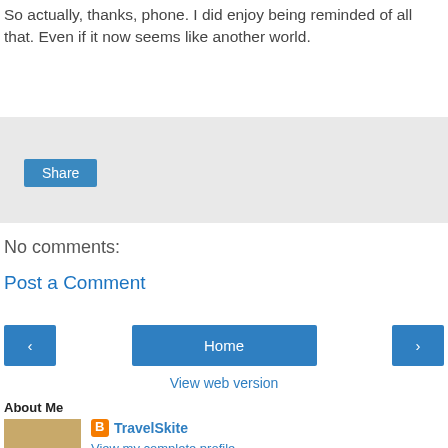So actually, thanks, phone. I did enjoy being reminded of all that. Even if it now seems like another world.
[Figure (screenshot): Share button area with light gray background and a blue Share button]
No comments:
Post a Comment
[Figure (screenshot): Navigation bar with left arrow, Home, and right arrow buttons in blue]
View web version
About Me
[Figure (photo): Profile photo of a blonde woman]
TravelSkite
View my complete profile